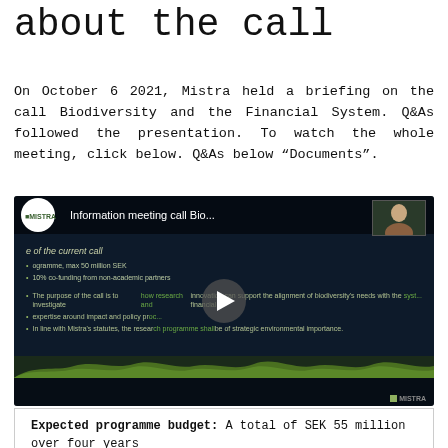about the call
On October 6 2021, Mistra held a briefing on the call Biodiversity and the Financial System. Q&As followed the presentation. To watch the whole meeting, click below. Q&As below “Documents”.
[Figure (screenshot): Embedded video thumbnail showing a Mistra information meeting presentation slide titled 'Information meeting call Bio...' with bullet points about biodiversity and financial system research call details. A play button is visible in the center.]
Search research
Expected programme budget: A total of SEK 55 million over four years
Mistra’s financial contribution: A...